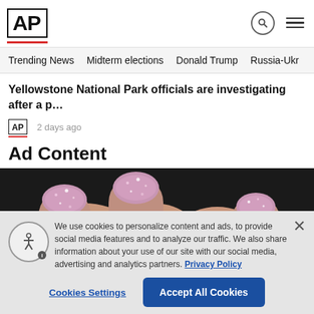AP
Trending News
Midterm elections
Donald Trump
Russia-Ukr
Yellowstone National Park officials are investigating after a p…
2 days ago
Ad Content
[Figure (photo): Close-up of fingers with pink glittery nail polish on a dark background]
We use cookies to personalize content and ads, to provide social media features and to analyze our traffic. We also share information about your use of our site with our social media, advertising and analytics partners. Privacy Policy
Cookies Settings   Accept All Cookies